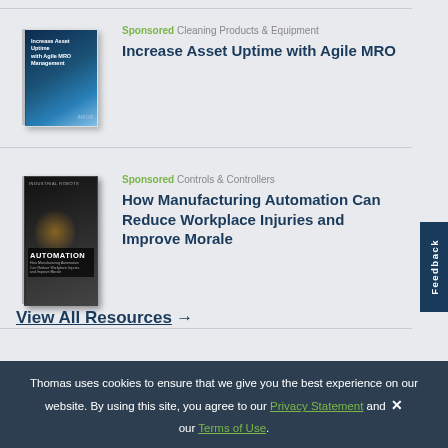[Figure (illustration): Book cover: Increase Asset Uptime with Agile MRO Management, blue gradient cover]
Sponsored Cleaning Products & Equipment
Increase Asset Uptime with Agile MRO
[Figure (illustration): Book cover: AUTOMATION, dark industrial cover with machinery]
Sponsored Controls & Controllers
How Manufacturing Automation Can Reduce Workplace Injuries and Improve Morale
View All Resources →
Thomas uses cookies to ensure that we give you the best experience on our website. By using this site, you agree to our Privacy Statement and our Terms of Use.